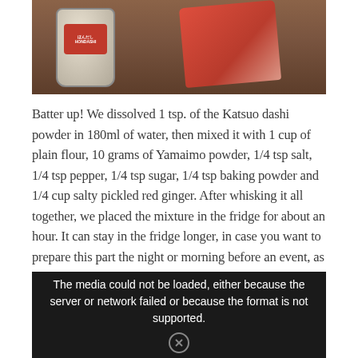[Figure (photo): Photo of cooking ingredients including a jar of Hondashi (Katsuo dashi powder) and a red package/bag on a wooden surface]
Batter up! We dissolved 1 tsp. of the Katsuo dashi powder in 180ml of water, then mixed it with 1 cup of plain flour, 10 grams of Yamaimo powder, 1/4 tsp salt, 1/4 tsp pepper, 1/4 tsp sugar, 1/4 tsp baking powder and 1/4 cup salty pickled red ginger. After whisking it all together, we placed the mixture in the fridge for about an hour. It can stay in the fridge longer, in case you want to prepare this part the night or morning before an event, as long as it is refrigerated for at least one hour prior to cooking.
[Figure (screenshot): Video player error message on dark background: 'The media could not be loaded, either because the server or network failed or because the format is not supported.']